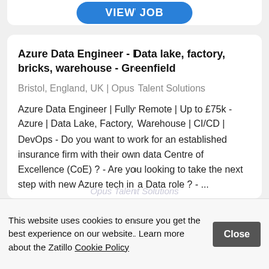[Figure (other): VIEW JOB button at top of card]
Azure Data Engineer - Data lake, factory, bricks, warehouse - Greenfield
Bristol, England, UK | Opus Talent Solutions
Azure Data Engineer | Fully Remote | Up to £75k - Azure | Data Lake, Factory, Warehouse | CI/CD | DevOps - Do you want to work for an established insurance firm with their own data Centre of Excellence (CoE) ? - Are you looking to take the next step with new Azure tech in a Data role ? - ...
Opus Talent Solutions
This website uses cookies to ensure you get the best experience on our website. Learn more about the Zatillo Cookie Policy